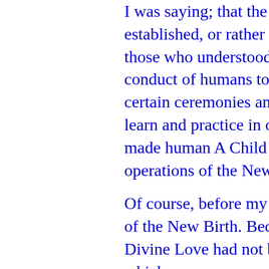I was saying; that the Jews, and those who established, or rather controlled, a religion for those who understood the True Teaching of the conduct of humans towards their God; and certain ceremonies and feasts were necessary to learn and practice in order to gain what had made human A Child of the Father, through the operations of the New Birth.

Of course, before my coming, there was no Gift of the New Birth. Because, the Gift of God's Divine Love had not been made. The soul qualities which was necessary for Immortality, and the partaking of God's Divine Love, the teachers could not teach it. Their teachings